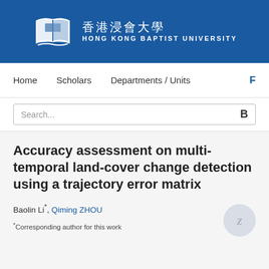[Figure (logo): Hong Kong Baptist University logo with book icon, Chinese name 香港浸會大學 and English name HONG KONG BAPTIST UNIVERSITY on blue background]
Home   Scholars   Departments / Units   F
Search...
Accuracy assessment on multi-temporal land-cover change detection using a trajectory error matrix
Baolin Li*, Qiming ZHOU
*Corresponding author for this work